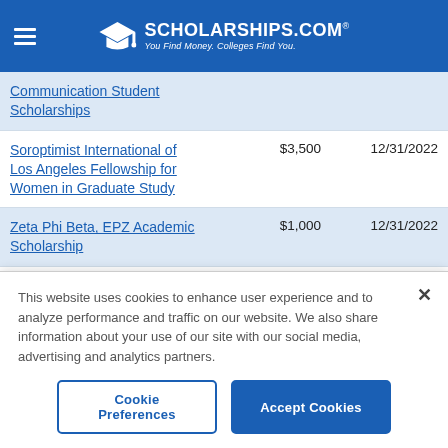SCHOLARSHIPS.COM® — You Find Money. Colleges Find You.
| Scholarship Name | Amount | Deadline |
| --- | --- | --- |
| Communication Student Scholarships |  |  |
| Soroptimist International of Los Angeles Fellowship for Women in Graduate Study | $3,500 | 12/31/2022 |
| Zeta Phi Beta, EPZ Academic Scholarship | $1,000 | 12/31/2022 |
| AMS Graduate Fellowships | $25,000 | 01/01/2023 |
This website uses cookies to enhance user experience and to analyze performance and traffic on our website. We also share information about your use of our site with our social media, advertising and analytics partners.
Cookie Preferences | Accept Cookies